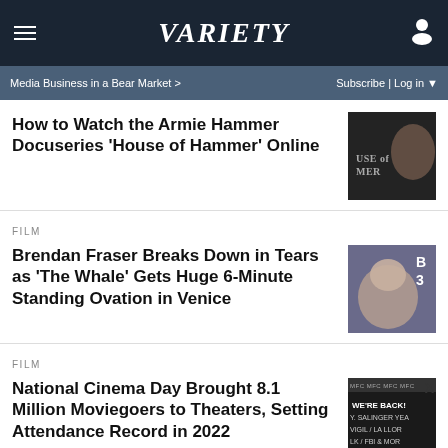VARIETY
Media Business in a Bear Market >   Subscribe | Log in
How to Watch the Armie Hammer Docuseries ‘House of Hammer’ Online
FILM
Brendan Fraser Breaks Down in Tears as 'The Whale' Gets Huge 6-Minute Standing Ovation in Venice
FILM
National Cinema Day Brought 8.1 Million Moviegoers to Theaters, Setting Attendance Record in 2022
[Figure (screenshot): Advertisement banner with Lidl logo, checkmark, 'In-store shopping' text, and navigation arrow icon]